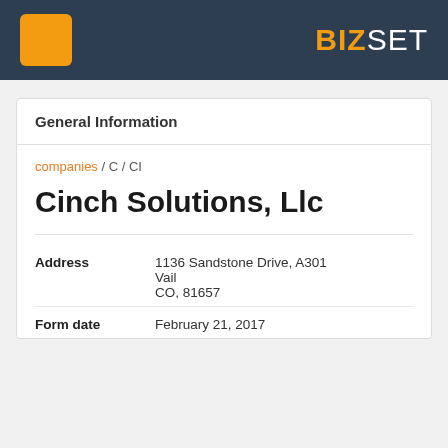BIZSET
General Information
companies / C / CI
Cinch Solutions, Llc
| Field | Value |
| --- | --- |
| Address | 1136 Sandstone Drive, A301
Vail
CO, 81657 |
| Form date | February 21, 2017 |